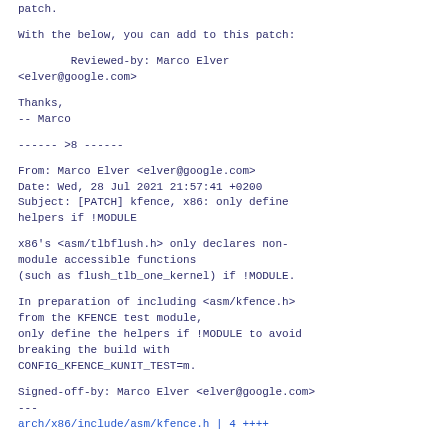patch.
With the below, you can add to this patch:
Reviewed-by: Marco Elver <elver@google.com>
Thanks,
-- Marco
------ >8 ------
From: Marco Elver <elver@google.com>
Date: Wed, 28 Jul 2021 21:57:41 +0200
Subject: [PATCH] kfence, x86: only define helpers if !MODULE
x86's <asm/tlbflush.h> only declares non-module accessible functions
(such as flush_tlb_one_kernel) if !MODULE.
In preparation of including <asm/kfence.h>
from the KFENCE test module,
only define the helpers if !MODULE to avoid
breaking the build with
CONFIG_KFENCE_KUNIT_TEST=m.
Signed-off-by: Marco Elver <elver@google.com>
---
 arch/x86/include/asm/kfence.h | 4 ++++